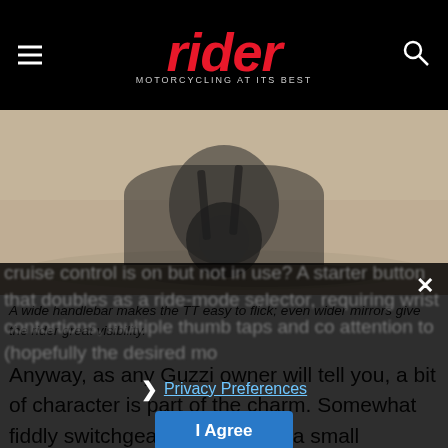rider — MOTORCYCLING AT ITS BEST
[Figure (photo): Motorcycle wheel and lower body on a road surface, shot from low angle. Sandy/asphalt background with motorcycle shadow visible.]
A wide handlebar makes the TT easy to flick; even wider mirrors give the rider great visibility.
Anyway, as any Guzzi owner will tell you, a bit of character is part of the charm. Somewhat fiddly switchgear that requires a small learning curve? An indicator light that blinks irritatingly whenever cruise control is on but not in use? A starter button that doubles as a ride-mode selector, requiring wrist contortions, multiple thumb taps and co attention to (hopefully) the desired mo